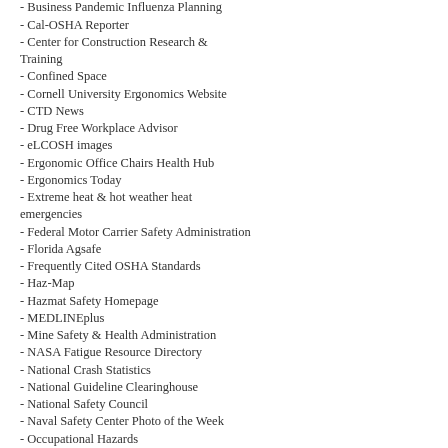- Brainline.org
- Business Pandemic Influenza Planning
- Cal-OSHA Reporter
- Center for Construction Research & Training
- Confined Space
- Cornell University Ergonomics Website
- CTD News
- Drug Free Workplace Advisor
- eLCOSH images
- Ergonomic Office Chairs Health Hub
- Ergonomics Today
- Extreme heat & hot weather heat emergencies
- Federal Motor Carrier Safety Administration
- Florida Agsafe
- Frequently Cited OSHA Standards
- Haz-Map
- Hazmat Safety Homepage
- MEDLINEplus
- Mine Safety & Health Administration
- NASA Fatigue Resource Directory
- National Crash Statistics
- National Guideline Clearinghouse
- National Safety Council
- Naval Safety Center Photo of the Week
- Occupational Hazards
- Occupational Health & Safety news
- Osh.net
-OSHA on Motor Vehicle Safety
- OSHA Training Institute
- rawblogXport - archives
- RSI Exercises
- Safe Lifting Portal
- Safety Sign Builder 2.0
- State Health Facts
- Traffic Safety (ASSE)
- Typing Injury FAQ
- U.S. Chemical Safety and Hazard Investigation Board
- Webility.md
- Workplace Safety - Reliable Plant